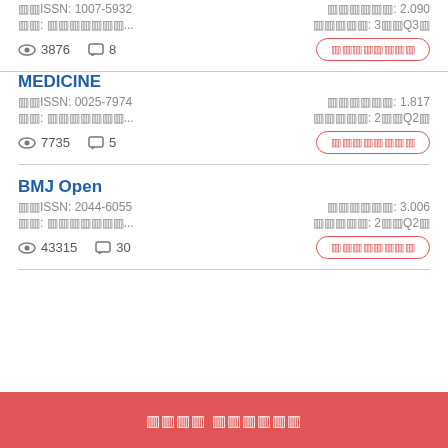印ISSN: 1007-5932    影响因子: 2.090
分区: 综合医学...    中科院分区: 3区Q3区
3876 views  8 comments
MEDICINE
印ISSN: 0025-7974    影响因子: 1.817
分区: 综合医学...    中科院分区: 2区Q2区
7735 views  5 comments
BMJ Open
印ISSN: 2044-6055    影响因子: 3.006
分区: 综合医学...    中科院分区: 2区Q2区
43315 views  30 comments
查看更多 相关期刊